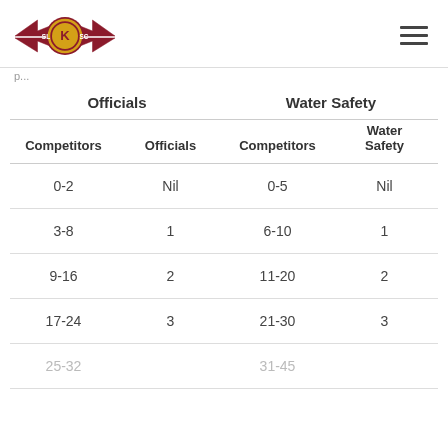SLKSC logo and navigation
p...
| Competitors | Officials | Competitors | Water Safety |
| --- | --- | --- | --- |
| 0-2 | Nil | 0-5 | Nil |
| 3-8 | 1 | 6-10 | 1 |
| 9-16 | 2 | 11-20 | 2 |
| 17-24 | 3 | 21-30 | 3 |